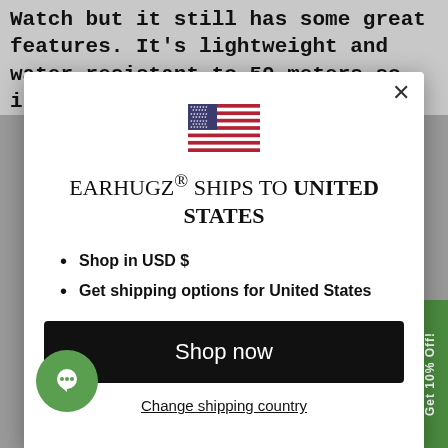Watch but it still has some great features. It's lightweight and water resistant to 50-meters so it's
[Figure (screenshot): Modal dialog with US flag, shipping destination notice for Earhugz to United States, shop in USD, get shipping options, Shop now button, and Change shipping country link]
EARHUGZ® SHIPS TO UNITED STATES
Shop in USD $
Get shipping options for United States